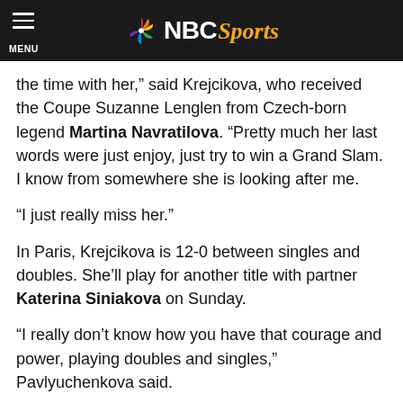NBC Sports
the time with her,” said Krejcikova, who received the Coupe Suzanne Lenglen from Czech-born legend Martina Navratilova. “Pretty much her last words were just enjoy, just try to win a Grand Slam. I know from somewhere she is looking after me.
“I just really miss her.”
In Paris, Krejcikova is 12-0 between singles and doubles. She’ll play for another title with partner Katerina Siniakova on Sunday.
“I really don’t know how you have that courage and power, playing doubles and singles,” Pavlyuchenkova said.
In singles, she navigated a draw that was otherwise defined by missing stars. The world’s top three players